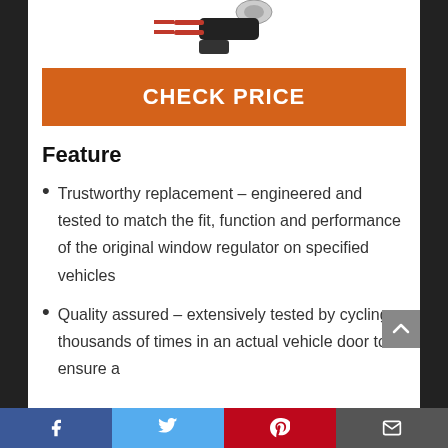[Figure (photo): Product photo of a window regulator component with red wires and black connector on white background]
CHECK PRICE
Feature
Trustworthy replacement – engineered and tested to match the fit, function and performance of the original window regulator on specified vehicles
Quality assured – extensively tested by cycling thousands of times in an actual vehicle door to ensure a
Facebook Twitter Pinterest Email